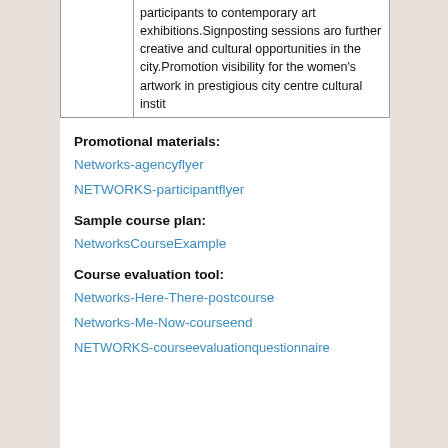|  | participants to contemporary art exhibitions.Signposting sessions aro further creative and cultural opportunities in the city.Promotion visibility for the women's artwork in prestigious city centre cultural instit |
Promotional materials:
Networks-agencyflyer
NETWORKS-participantflyer
Sample course plan:
NetworksCourseExample
Course evaluation tool:
Networks-Here-There-postcourse
Networks-Me-Now-courseend
NETWORKS-courseevaluationquestionnaire